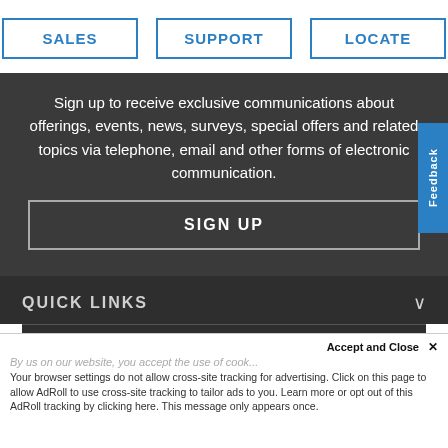[Figure (screenshot): Navigation buttons: SALES, SUPPORT, LOCATE with blue borders]
Sign up to receive exclusive communications about offerings, events, news, surveys, special offers and related topics via telephone, email and other forms of electronic communication.
SIGN UP
QUICK LINKS
Accept and Close ✕
Your browser settings do not allow cross-site tracking for advertising. Click on this page to allow AdRoll to use cross-site tracking to tailor ads to you. Learn more or opt out of this AdRoll tracking by clicking here. This message only appears once.